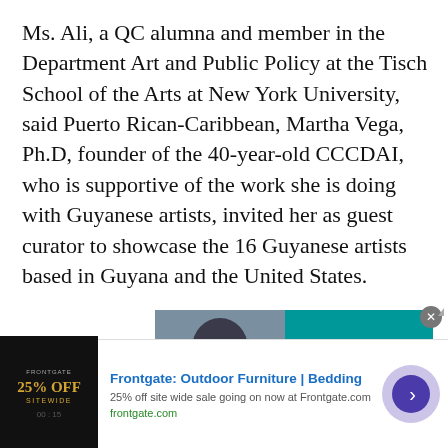Ms. Ali, a QC alumna and member in the Department Art and Public Policy at the Tisch School of the Arts at New York University, said Puerto Rican-Caribbean, Martha Vega, Ph.D, founder of the 40-year-old CCCDAI, who is supportive of the work she is doing with Guyanese artists, invited her as guest curator to showcase the 16 Guyanese artists based in Guyana and the United States.
[Figure (photo): Advertisement banner showing a person wearing a face mask with text 'COVID-19 IS STILL HERE' and 'TAKE STEPS TO' on a teal/blue-green background]
[Figure (infographic): Bottom advertisement for Frontgate: Outdoor Furniture | Bedding. Shows '25% OFF SITEWIDE' on dark background with text '25% off site wide sale going on now at Frontgate.com' and 'frontgate.com'. Includes a purple arrow button on the right.]